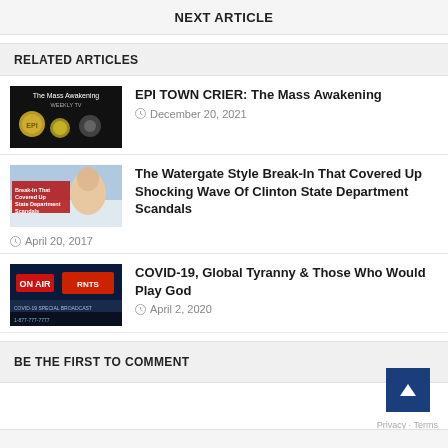NEXT ARTICLE
RELATED ARTICLES
EPI TOWN CRIER: The Mass Awakening
December 20, 2021
The Watergate Style Break-In That Covered Up Shocking Wave Of Clinton State Department Scandals
April 20, 2017
COVID-19, Global Tyranny & Those Who Would Play God
April 2, 2020
BE THE FIRST TO COMMENT